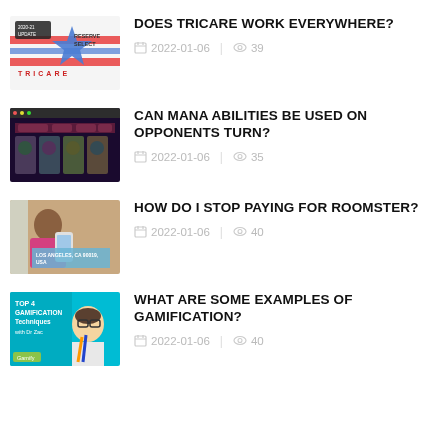[Figure (thumbnail): TRICARE Reserve Select 2020-21 Update thumbnail with logo]
DOES TRICARE WORK EVERYWHERE?
2022-01-06   39
[Figure (thumbnail): Hearthstone card game screenshot thumbnail]
CAN MANA ABILITIES BE USED ON OPPONENTS TURN?
2022-01-06   35
[Figure (thumbnail): Person holding phone with LOS ANGELES CA address overlay thumbnail]
HOW DO I STOP PAYING FOR ROOMSTER?
2022-01-06   40
[Figure (thumbnail): TOP 4 GAMIFICATION TECHNIQUES with Dr Zac - Gamify thumbnail]
WHAT ARE SOME EXAMPLES OF GAMIFICATION?
2022-01-06   40